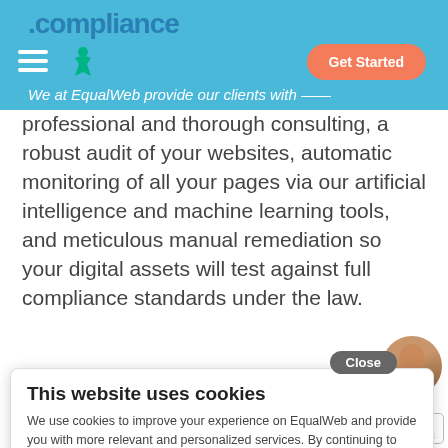compliance | We at EqualWeb provide our clients with — Get Started
professional and thorough consulting, a robust audit of your websites, automatic monitoring of all your pages via our artificial intelligence and machine learning tools, and meticulous manual remediation so your digital assets will test against full compliance standards under the law.
Our services come with the most powerful and cutting-edge technology with a team of qualified professionals from the first stage to the last using the best innovative transformation, full IS 5568 accessibility solutions.
[Figure (screenshot): Cookie consent popup overlay with Close button, heading 'This website uses cookies', body text about cookies on EqualWeb, and a Learn More button]
[Figure (photo): Portrait photo of a woman, circular crop, bottom right corner]
[Figure (logo): TrustedSite CERTIFIED SECURE badge, bottom right corner]